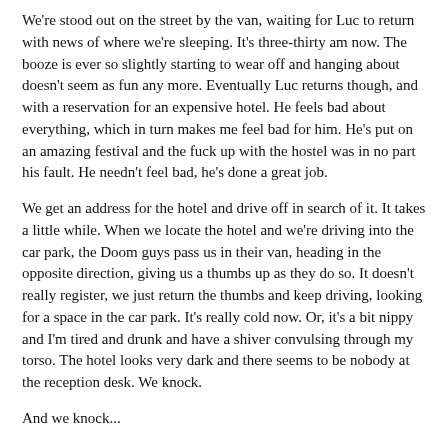We're stood out on the street by the van, waiting for Luc to return with news of where we're sleeping. It's three-thirty am now. The booze is ever so slightly starting to wear off and hanging about doesn't seem as fun any more. Eventually Luc returns though, and with a reservation for an expensive hotel. He feels bad about everything, which in turn makes me feel bad for him. He's put on an amazing festival and the fuck up with the hostel was in no part his fault. He needn't feel bad, he's done a great job.
We get an address for the hotel and drive off in search of it. It takes a little while. When we locate the hotel and we're driving into the car park, the Doom guys pass us in their van, heading in the opposite direction, giving us a thumbs up as they do so. It doesn't really register, we just return the thumbs and keep driving, looking for a space in the car park. It's really cold now. Or, it's a bit nippy and I'm tired and drunk and have a shiver convulsing through my torso. The hotel looks very dark and there seems to be nobody at the reception desk. We knock.
And we knock...
I start losing my rag. Johan, keeps his cool as always though, telling me that if I do go through with my shallow threat of putting my foot through the door then we won't have anywhere but the van to sleep tonight. I just grumble like a kid that's been put in his place, feeling like a tit. After about ten minutes of aimlessly knocking fists on cold glass, it dawns on us to check out where the Doom guys